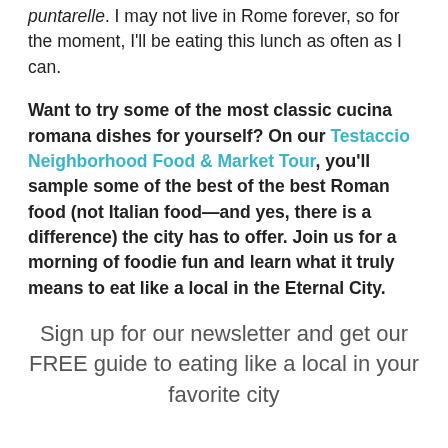puntarelle. I may not live in Rome forever, so for the moment, I'll be eating this lunch as often as I can.
Want to try some of the most classic cucina romana dishes for yourself? On our Testaccio Neighborhood Food & Market Tour, you'll sample some of the best of the best Roman food (not Italian food—and yes, there is a difference) the city has to offer. Join us for a morning of foodie fun and learn what it truly means to eat like a local in the Eternal City.
Sign up for our newsletter and get our FREE guide to eating like a local in your favorite city